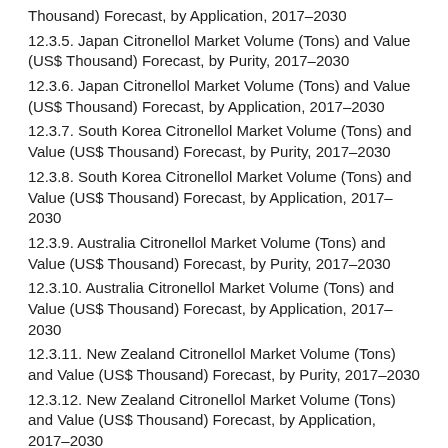Thousand) Forecast, by Application, 2017–2030
12.3.5. Japan Citronellol Market Volume (Tons) and Value (US$ Thousand) Forecast, by Purity, 2017–2030
12.3.6. Japan Citronellol Market Volume (Tons) and Value (US$ Thousand) Forecast, by Application, 2017–2030
12.3.7. South Korea Citronellol Market Volume (Tons) and Value (US$ Thousand) Forecast, by Purity, 2017–2030
12.3.8. South Korea Citronellol Market Volume (Tons) and Value (US$ Thousand) Forecast, by Application, 2017–2030
12.3.9. Australia Citronellol Market Volume (Tons) and Value (US$ Thousand) Forecast, by Purity, 2017–2030
12.3.10. Australia Citronellol Market Volume (Tons) and Value (US$ Thousand) Forecast, by Application, 2017–2030
12.3.11. New Zealand Citronellol Market Volume (Tons) and Value (US$ Thousand) Forecast, by Purity, 2017–2030
12.3.12. New Zealand Citronellol Market Volume (Tons) and Value (US$ Thousand) Forecast, by Application, 2017–2030
12.3.13. Malaysia Citronellol Market Volume (Tons) and Value (US$ Thousand) Forecast, by Purity, 2017–2030
12.3.14. Malaysia Citronellol Market Volume (Tons) and Value